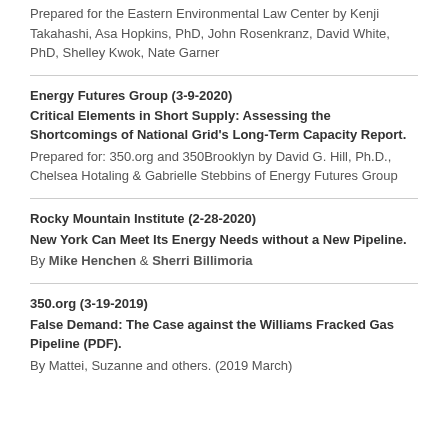Prepared for the Eastern Environmental Law Center by Kenji Takahashi, Asa Hopkins, PhD, John Rosenkranz, David White, PhD, Shelley Kwok, Nate Garner
Energy Futures Group (3-9-2020)
Critical Elements in Short Supply: Assessing the Shortcomings of National Grid's Long-Term Capacity Report.
Prepared for: 350.org and 350Brooklyn by David G. Hill, Ph.D., Chelsea Hotaling & Gabrielle Stebbins of Energy Futures Group
Rocky Mountain Institute (2-28-2020)
New York Can Meet Its Energy Needs without a New Pipeline.
By Mike Henchen & Sherri Billimoria
350.org (3-19-2019)
False Demand: The Case against the Williams Fracked Gas Pipeline (PDF).
By Mattei, Suzanne and others. (2019 March)